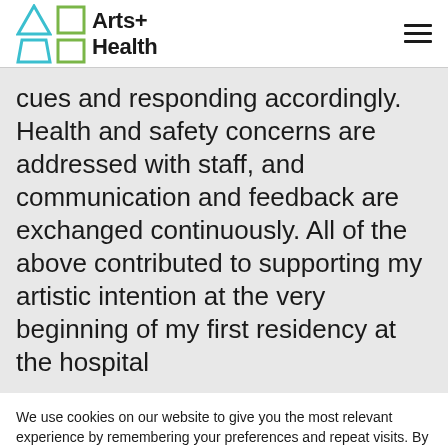Arts+ Health
cues and responding accordingly. Health and safety concerns are addressed with staff, and communication and feedback are exchanged continuously. All of the above contributed to supporting my artistic intention at the very beginning of my first residency at the hospital
We use cookies on our website to give you the most relevant experience by remembering your preferences and repeat visits. By clicking “Accept All”, you consent to the use of ALL the cookies. However, you may visit "Cookie Settings" to provide a controlled consent.